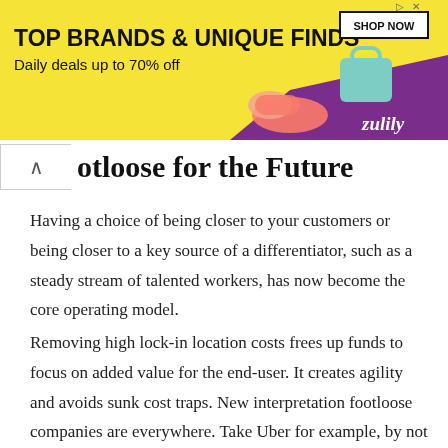[Figure (other): Zulily advertisement banner: yellow background with text 'TOP BRANDS & UNIQUE FINDS', 'Daily deals up to 70% off', shoe and bag images, purple strip with 'zulily' logo, 'SHOP NOW' button]
ootloose for the Future
Having a choice of being closer to your customers or being closer to a key source of a differentiator, such as a steady stream of talented workers, has now become the core operating model.
Removing high lock-in location costs frees up funds to focus on added value for the end-user. It creates agility and avoids sunk cost traps. New interpretation footloose companies are everywhere. Take Uber for example, by not owning their own call cabs, they are completely footloose.